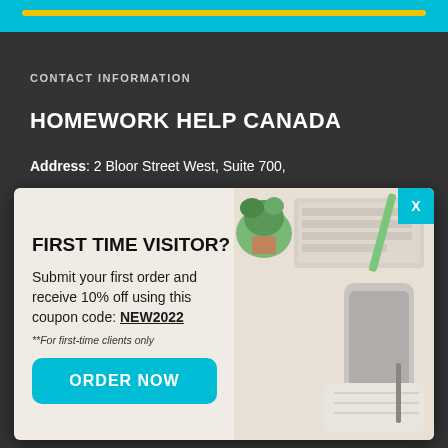CONTACT INFORMATION
HOMEWORK HELP CANADA
Address: 2 Bloor Street West, Suite 700
[Figure (screenshot): Popup modal with background image of desk with keyboard, phone, and plant. Contains promotional offer for first-time visitors.]
FIRST TIME VISITOR?
Submit your first order and receive 10% off using this coupon code: NEW2022
**For first-time clients only
ORDER NOW